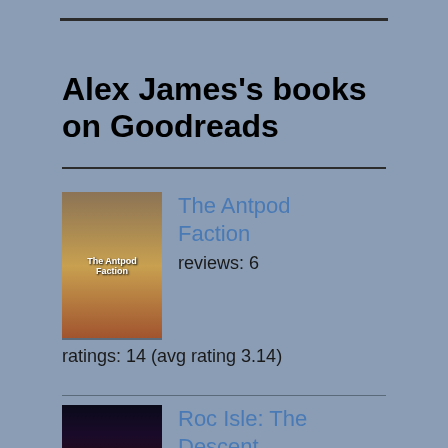Alex James's books on Goodreads
The Antpod Faction — reviews: 6, ratings: 14 (avg rating 3.14)
Roc Isle: The Descent — reviews: 5, ratings: 7 (avg rating 3.86)
Marcellus: The...